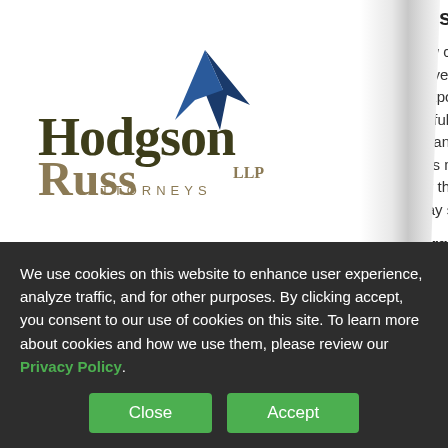[Figure (logo): Hodgson Russ LLP Attorneys logo with blue arrow/compass rose icon above the text]
WHY US
PROFESSIONALS
does this r
s now clear tha
mployees in sta
be exposed to "pl
their full-time em
Exchange covera
states may have a
likely that few (if a
or-pay strategies
Obergefell v. Ho
We use cookies on this website to enhance user experience, analyze traffic, and for other purposes. By clicking accept, you consent to our use of cookies on this site. To learn more about cookies and how we use them, please review our Privacy Policy.